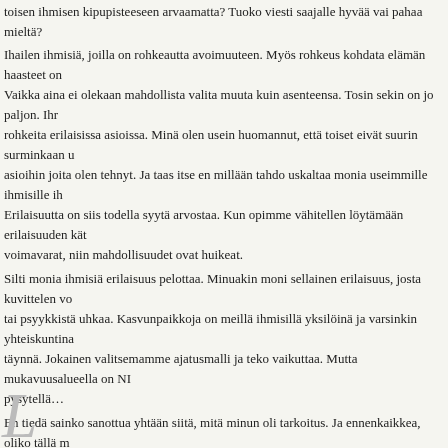toisen ihmisen kipupisteeseen arvaamatta? Tuoko viesti saajalle hyvää vai pahaa mieltä? Ihailen ihmisiä, joilla on rohkeautta avoimuuteen. Myös rohkeus kohdata elämän haasteet on Vaikka aina ei olekaan mahdollista valita muuta kuin asenteensa. Tosin sekin on jo paljon. Ihr rohkeita erilaisissa asioissa. Minä olen usein huomannut, että toiset eivät suurin surminkaan u asioihin joita olen tehnyt. Ja taas itse en millään tahdo uskaltaa monia useimmille ihmisille ih Erilaisuutta on siis todella syytä arvostaa. Kun opimme vähitellen löytämään erilaisuuden kät voimavarat, niin mahdollisuudet ovat huikeat. Silti monia ihmisiä erilaisuus pelottaa. Minuakin moni sellainen erilaisuus, josta kuvittelen vo tai psyykkistä uhkaa. Kasvunpaikkoja on meillä ihmisillä yksilöinä ja varsinkin yhteiskuntina täynnä. Jokainen valitsemamme ajatusmalli ja teko vaikuttaa. Mutta mukavuusalueella on NI pysytellä… En tiedä sainko sanottua yhtään siitä, mitä minun oli tarkoitus. Ja ennenkaikkea, oliko tällä m ilahduttavaa) merkitystä sinulle. Onpahan kuitenkin yksi pieni teko elämän meressä, hyvin av tarkoituksin.
Sophie Wood 22.06.2017 07:00
Kati I just love reading your posts! Words alone can't describe how amazing you are. This blo blogs. I read your blog with my heart. Thank you so much.